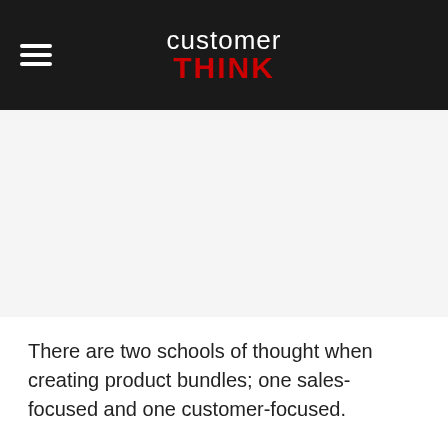customer THINK
[Figure (other): Advertisement or placeholder area below the header navigation bar]
There are two schools of thought when creating product bundles; one sales-focused and one customer-focused.